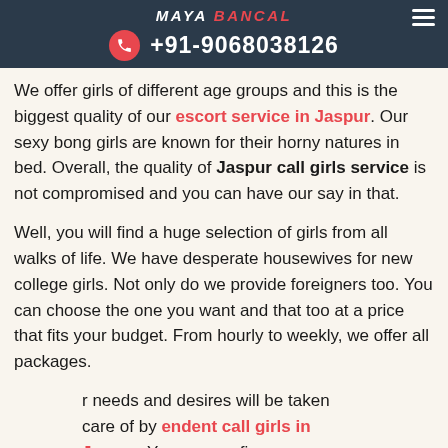MAYA BANCAL +91-9068038126
We offer girls of different age groups and this is the biggest quality of our escort service in Jaspur. Our sexy bong girls are known for their horny natures in bed. Overall, the quality of Jaspur call girls service is not compromised and you can have our say in that.
Well, you will find a huge selection of girls from all walks of life. We have desperate housewives for new college girls. Not only do we provide foreigners too. You can choose the one you want and that too at a price that fits your budget. From hourly to weekly, we offer all packages.
r needs and desires will be taken care of by endent call girls in Jaspur. You can confirm reservation through our website and we have a very easy